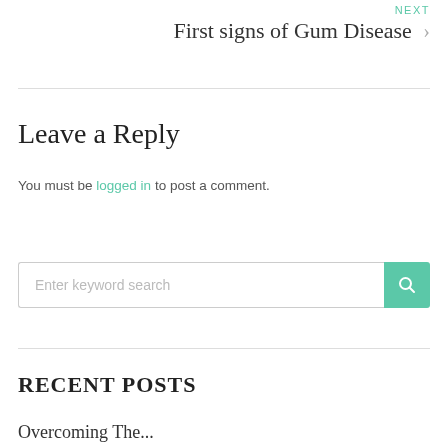NEXT
First signs of Gum Disease ›
Leave a Reply
You must be logged in to post a comment.
Enter keyword search
RECENT POSTS
Overcoming The...